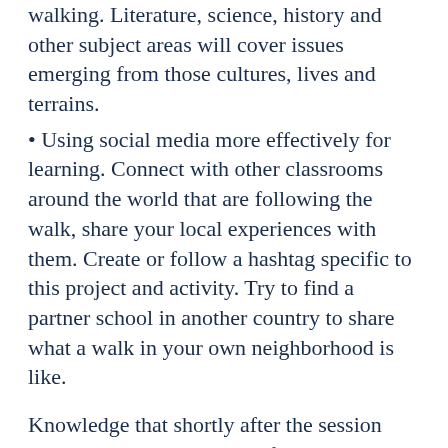walking. Literature, science, history and other subject areas will cover issues emerging from those cultures, lives and terrains.
Using social media more effectively for learning. Connect with other classrooms around the world that are following the walk, share your local experiences with them. Create or follow a hashtag specific to this project and activity. Try to find a partner school in another country to share what a walk in your own neighborhood is like.
Knowledge that shortly after the session Paul Salopek and the Out of Eden Walk would be featured as National Geographic magazine's cover story added to the energy in the room. So